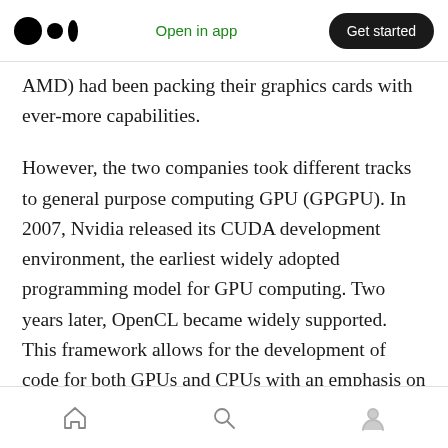Open in app | Get started
AMD) had been packing their graphics cards with ever-more capabilities.
However, the two companies took different tracks to general purpose computing GPU (GPGPU). In 2007, Nvidia released its CUDA development environment, the earliest widely adopted programming model for GPU computing. Two years later, OpenCL became widely supported. This framework allows for the development of code for both GPUs and CPUs with an emphasis on portability. Thus, GPUs
Home | Search | Profile